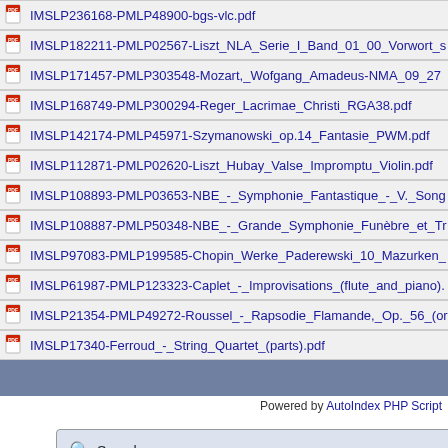IMSLP236168-PMLP48900-bgs-vlc.pdf
IMSLP182211-PMLP02567-Liszt_NLA_Serie_I_Band_01_00_Vorwort_s
IMSLP171457-PMLP303548-Mozart,_Wofgang_Amadeus-NMA_09_27
IMSLP168749-PMLP300294-Reger_Lacrimae_Christi_RGA38.pdf
IMSLP142174-PMLP45971-Szymanowski_op.14_Fantasie_PWM.pdf
IMSLP112871-PMLP02620-Liszt_Hubay_Valse_Impromptu_Violin.pdf
IMSLP108893-PMLP03653-NBE_-_Symphonie_Fantastique_-_V._Song
IMSLP108887-PMLP50348-NBE_-_Grande_Symphonie_Funèbre_et_Tr
IMSLP97083-PMLP199585-Chopin_Werke_Paderewski_10_Mazurken_
IMSLP61987-PMLP123323-Caplet_-_Improvisations_(flute_and_piano).
IMSLP21354-PMLP49272-Roussel_-_Rapsodie_Flamande,_Op._56_(or
IMSLP17340-Ferroud_-_String_Quartet_(parts).pdf
Powered by AutoIndex PHP Script
Search: